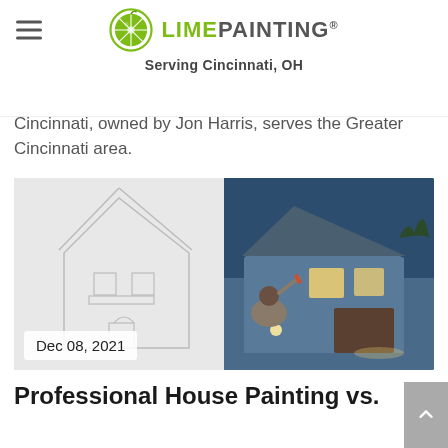LIME PAINTING® — Serving Cincinnati, OH
Cincinnati, owned by Jon Harris, serves the Greater Cincinnati area.
[Figure (photo): Split image showing a hand-drawn architectural sketch of a house on the left half transitioning to a photorealistic rendered image of a blue painted house at night on the right half, with a man painting. Date badge in lower left reads 'Dec 08, 2021'.]
Professional House Painting vs. DIY Painting